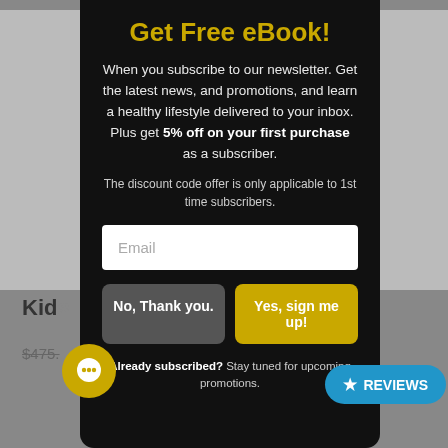Get Free eBook!
When you subscribe to our newsletter. Get the latest news, and promotions, and learn a healthy lifestyle delivered to your inbox. Plus get 5% off on your first purchase as a subscriber.
The discount code offer is only applicable to 1st time subscribers.
Email
No, Thank you.
Yes, sign me up!
Already subscribed? Stay tuned for upcoming promotions.